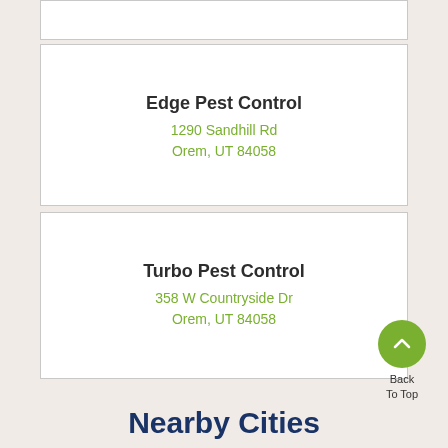Edge Pest Control
1290 Sandhill Rd
Orem, UT 84058
Turbo Pest Control
358 W Countryside Dr
Orem, UT 84058
Back
To Top
Nearby Cities